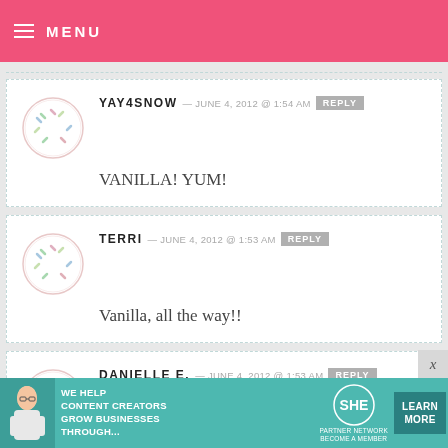MENU
YAY4SNOW — JUNE 4, 2012 @ 1:54 AM REPLY
VANILLA! YUM!
TERRI — JUNE 4, 2012 @ 1:53 AM REPLY
Vanilla, all the way!!
DANIELLE E. — JUNE 4, 2012 @ 1:53 AM REPLY
[Figure (infographic): SHE Partner Network advertisement banner: WE HELP CONTENT CREATORS GROW BUSINESSES THROUGH... with SHE logo and LEARN MORE button]